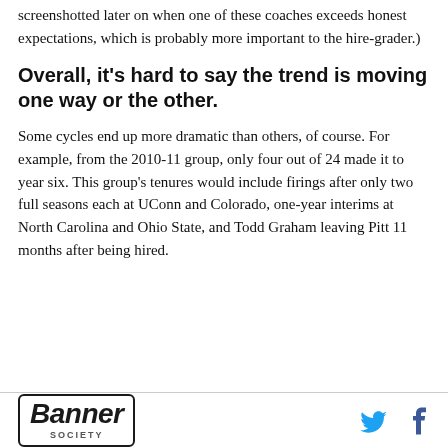screenshotted later on when one of these coaches exceeds honest expectations, which is probably more important to the hire-grader.)
Overall, it's hard to say the trend is moving one way or the other.
Some cycles end up more dramatic than others, of course. For example, from the 2010-11 group, only four out of 24 made it to year six. This group's tenures would include firings after only two full seasons each at UConn and Colorado, one-year interims at North Carolina and Ohio State, and Todd Graham leaving Pitt 11 months after being hired.
Banner Society